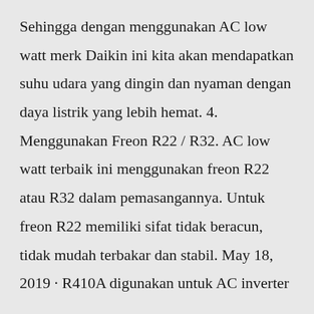Sehingga dengan menggunakan AC low watt merk Daikin ini kita akan mendapatkan suhu udara yang dingin dan nyaman dengan daya listrik yang lebih hemat. 4. Menggunakan Freon R22 / R32. AC low watt terbaik ini menggunakan freon R22 atau R32 dalam pemasangannya. Untuk freon R22 memiliki sifat tidak beracun, tidak mudah terbakar dan stabil. May 18, 2019 · R410A digunakan untuk AC inverter